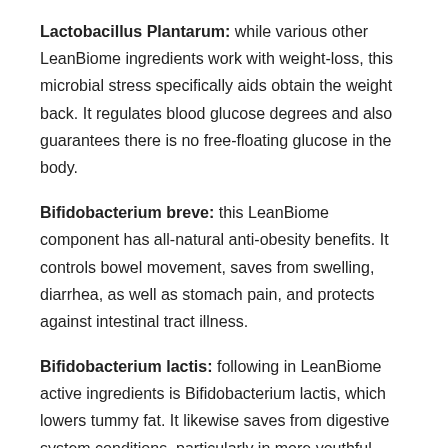Lactobacillus Plantarum: while various other LeanBiome ingredients work with weight-loss, this microbial stress specifically aids obtain the weight back. It regulates blood glucose degrees and also guarantees there is no free-floating glucose in the body.
Bifidobacterium breve: this LeanBiome component has all-natural anti-obesity benefits. It controls bowel movement, saves from swelling, diarrhea, as well as stomach pain, and protects against intestinal tract illness.
Bifidobacterium lactis: following in LeanBiome active ingredients is Bifidobacterium lactis, which lowers tummy fat. It likewise saves from digestive system conditions, particularly in more youthful grownups.
Lactobacillus Rhamnosus: this strain promotes weight management as well as removes fat from the troublesome areas, including the stomach, thighs, hips, and also arms. It also saves